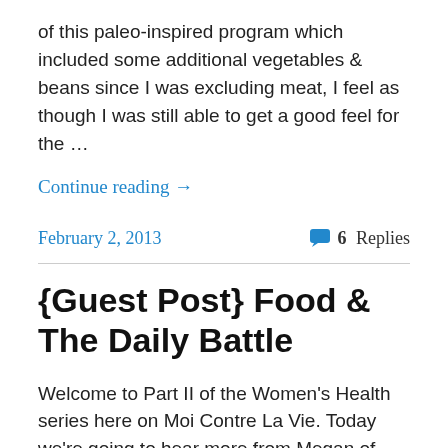of this paleo-inspired program which included some additional vegetables & beans since I was excluding meat, I feel as though I was still able to get a good feel for the …
Continue reading →
February 2, 2013
6 Replies
{Guest Post} Food & The Daily Battle
Welcome to Part II of the Women's Health series here on Moi Contre La Vie. Today we're going to hear more from Megan of Kaia F.I.T. Sacramento on the daily struggle to eat well. If you're new to this series be sure to check out Megan's bio {Guest Post: Women's Health} and her previous post -   Continue reading →